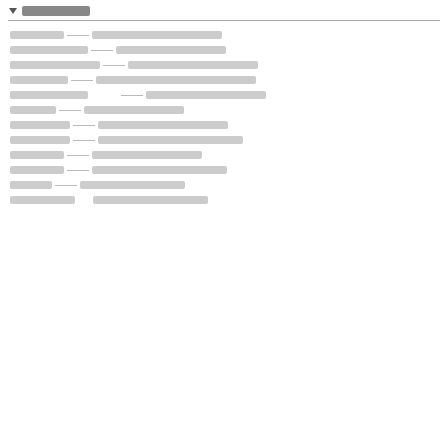▼ [redacted]
[redacted] — [redacted]
[redacted] — [redacted]
[redacted] — [redacted]
[redacted] — [redacted]
[redacted]  — [redacted]
[redacted] — [redacted]
[redacted] — [redacted]
[redacted] — [redacted]
[redacted] — [redacted]
[redacted] — [redacted]
[redacted] — [redacted]
[redacted]   [redacted]